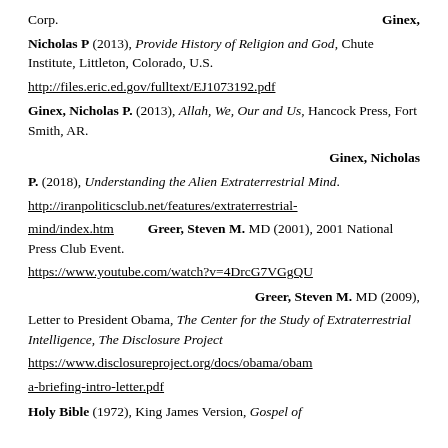Corp.    Ginex, Nicholas P (2013), Provide History of Religion and God, Chute Institute, Littleton, Colorado, U.S. http://files.eric.ed.gov/fulltext/EJ1073192.pdf
Ginex, Nicholas P. (2013), Allah, We, Our and Us, Hancock Press, Fort Smith, AR.
Ginex, Nicholas P. (2018), Understanding the Alien Extraterrestrial Mind. http://iranpoliticsclub.net/features/extraterrestrial-mind/index.htm    Greer, Steven M. MD (2001), 2001 National Press Club Event. https://www.youtube.com/watch?v=4DrcG7VGgQU
Greer, Steven M. MD (2009), Letter to President Obama, The Center for the Study of Extraterrestrial Intelligence, The Disclosure Project https://www.disclosureproject.org/docs/obama/obama-briefing-intro-letter.pdf
Holy Bible (1972), King James Version, Gospel of